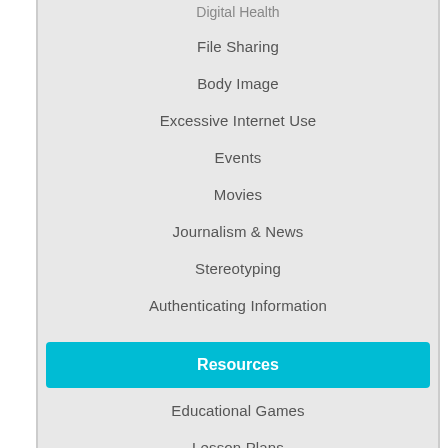Digital Health
File Sharing
Body Image
Excessive Internet Use
Events
Movies
Journalism & News
Stereotyping
Authenticating Information
Resources
Educational Games
Lesson Plans
Licensed Resources